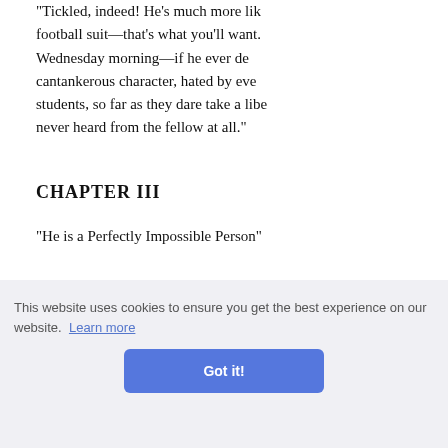"Tickled, indeed! He's much more lik football suit—that's what you'll want. Wednesday morning—if he ever de cantankerous character, hated by eve students, so far as they dare take a libe never heard from the fellow at all."
CHAPTER III
"He is a Perfectly Impossible Person"
not desti nsington nich look
"SIR.—I have duly received your note